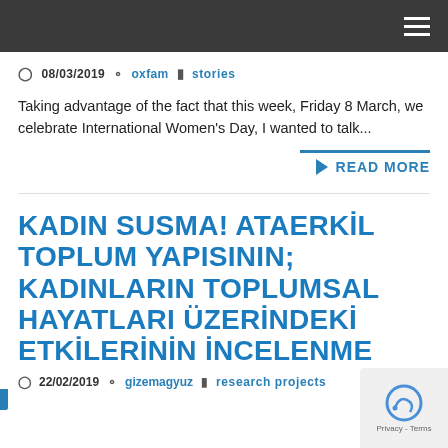Navigation header bar with hamburger menu
08/03/2019  oxfam  stories
Taking advantage of the fact that this week, Friday 8 March, we celebrate International Women's Day, I wanted to talk...
READ MORE
KADIN SUSMA! ATAERKİL TOPLUM YAPISININ; KADINLARIN TOPLUMSAL HAYATLARI ÜZERİNDEKİ ETKİLERİNİN İNCELENME
22/02/2019  gizemagyuz  research projects